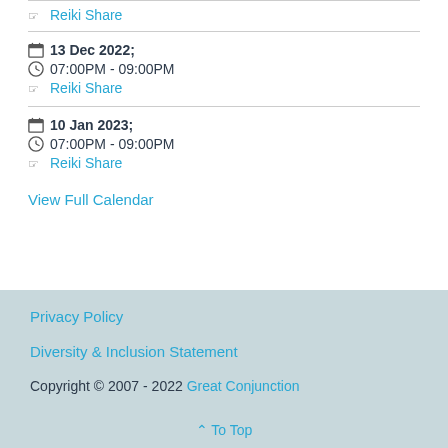Reiki Share
13 Dec 2022; 07:00PM - 09:00PM Reiki Share
10 Jan 2023; 07:00PM - 09:00PM Reiki Share
View Full Calendar
Privacy Policy
Diversity & Inclusion Statement
Copyright © 2007 - 2022 Great Conjunction
⌃ To Top